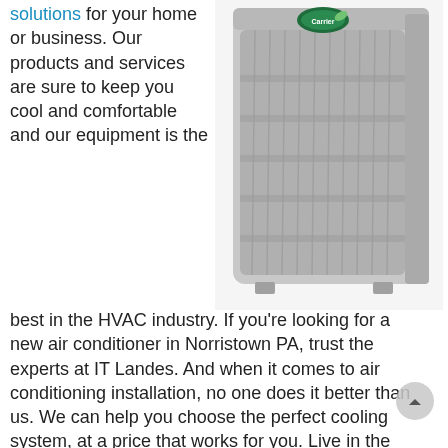solutions for your home or business. Our products and services are sure to keep you cool and comfortable and our equipment is the
[Figure (photo): A Carrier brand outdoor air conditioning unit, gray metal grille housing with green Carrier logo badge on top.]
best in the HVAC industry. If you're looking for a new air conditioner in Norristown PA, trust the experts at IT Landes. And when it comes to air conditioning installation, no one does it better than us. We can help you choose the perfect cooling system, at a price that works for you. Live in the comfort you desire with IT Landes. Check out some of our cooling services below: